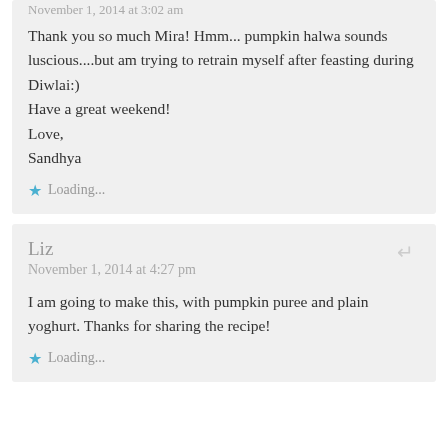November 1, 2014 at 3:02 am
Thank you so much Mira! Hmm... pumpkin halwa sounds luscious....but am trying to retrain myself after feasting during Diwlai:)
Have a great weekend!
Love,
Sandhya
Loading...
Liz
November 1, 2014 at 4:27 pm
I am going to make this, with pumpkin puree and plain yoghurt. Thanks for sharing the recipe!
Loading...